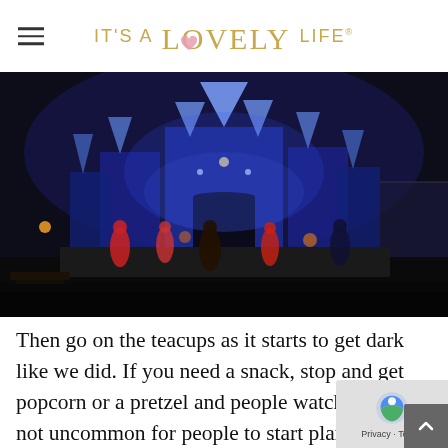It's A Lovely Life
[Figure (photo): Disneyland castle lit up in blue and purple lights at night, with costumed performers on a stage in front of the castle.]
Then go on the teacups as it starts to get dark like we did. If you need a snack, stop and get popcorn or a pretzel and people watch. It's not uncommon for people to start planning their costumes ahead of time and it shows in the detailed